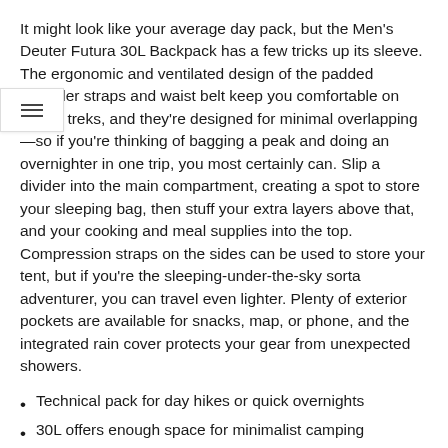It might look like your average day pack, but the Men's Deuter Futura 30L Backpack has a few tricks up its sleeve. The ergonomic and ventilated design of the padded shoulder straps and waist belt keep you comfortable on longer treks, and they're designed for minimal overlapping—so if you're thinking of bagging a peak and doing an overnighter in one trip, you most certainly can. Slip a divider into the main compartment, creating a spot to store your sleeping bag, then stuff your extra layers above that, and your cooking and meal supplies into the top. Compression straps on the sides can be used to store your tent, but if you're the sleeping-under-the-sky sorta adventurer, you can travel even lighter. Plenty of exterior pockets are available for snacks, map, or phone, and the integrated rain cover protects your gear from unexpected showers.
Technical pack for day hikes or quick overnights
30L offers enough space for minimalist camping
Breathable support system provides padded comfort as you hike
Rugged construction built to resists tears and abrasion